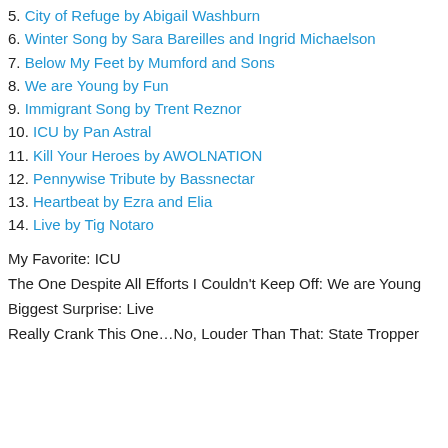5. City of Refuge by Abigail Washburn
6. Winter Song by Sara Bareilles and Ingrid Michaelson
7. Below My Feet by Mumford and Sons
8. We are Young by Fun
9. Immigrant Song by Trent Reznor
10. ICU by Pan Astral
11. Kill Your Heroes by AWOLNATION
12. Pennywise Tribute by Bassnectar
13. Heartbeat by Ezra and Elia
14. Live by Tig Notaro
My Favorite: ICU
The One Despite All Efforts I Couldn't Keep Off: We are Young
Biggest Surprise: Live
Really Crank This One…No, Louder Than That: State Tropper